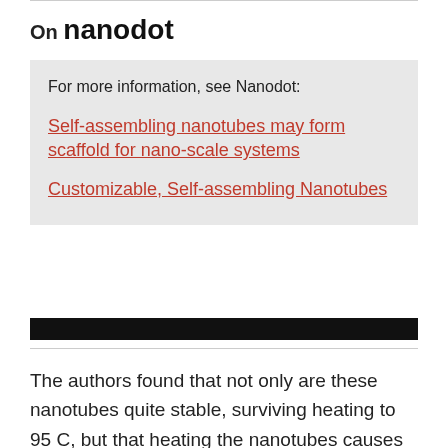On nanodot
For more information, see Nanodot:

Self-assembling nanotubes may form scaffold for nano-scale systems
Customizable, Self-assembling Nanotubes
[Figure (other): Black horizontal bar (redacted/banner element)]
The authors found that not only are these nanotubes quite stable, surviving heating to 95 C, but that heating the nanotubes causes them to